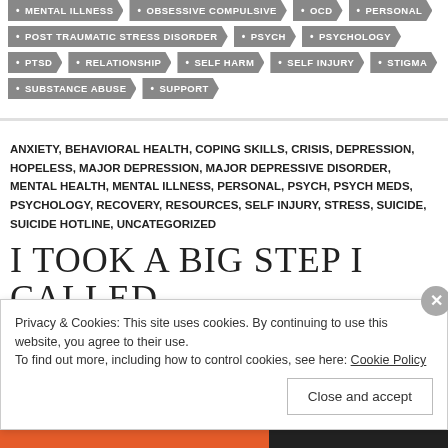MENTAL ILLNESS • OBSESSIVE COMPULSIVE • OCD • PERSONAL
POST TRAUMATIC STRESS DISORDER • PSYCH • PSYCHOLOGY
PTSD • RELATIONSHIP • SELF HARM • SELF INJURY • STIGMA
SUBSTANCE ABUSE • SUPPORT
ANXIETY, BEHAVIORAL HEALTH, COPING SKILLS, CRISIS, DEPRESSION, HOPELESS, MAJOR DEPRESSION, MAJOR DEPRESSIVE DISORDER, MENTAL HEALTH, MENTAL ILLNESS, PERSONAL, PSYCH, PSYCH MEDS, PSYCHOLOGY, RECOVERY, RESOURCES, SELF INJURY, STRESS, SUICIDE, SUICIDE HOTLINE, UNCATEGORIZED
I TOOK A BIG STEP I CALLED
Privacy & Cookies: This site uses cookies. By continuing to use this website, you agree to their use. To find out more, including how to control cookies, see here: Cookie Policy
Close and accept